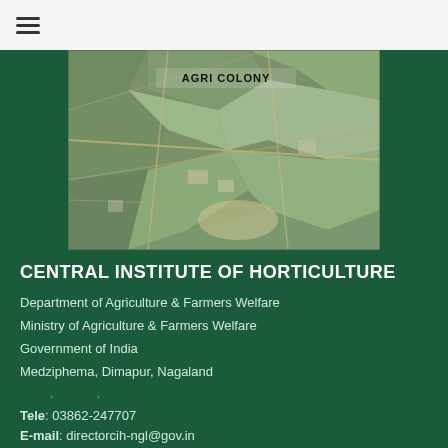[Figure (map): Aerial/satellite map view showing Agri Colony area with terrain, roads and land use visible. Label 'AGRI COLONY' shown in black text on the map.]
CENTRAL INSTITUTE OF HORTICULTURE
Department of Agriculture & Farmers Welfare
Ministry of Agriculture & Farmers Welfare
Government of India
Medziphema, Dimapur, Nagaland
Tele: 03862-247707
E-mail: directorcih-ngl@gov.in
Disclaimer: This website belongs to Central Institute of Horticulture, Department of Agriculture & Farmers Welfare,